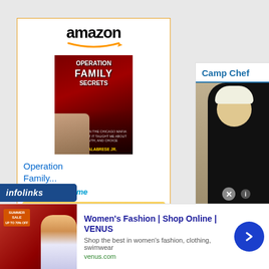[Figure (screenshot): Amazon advertisement for 'Operation Family Secrets' book, showing amazon logo, book cover image, product title in blue, price $16.00 with Prime badge, and a gold 'Shop now' button]
[Figure (screenshot): Second Amazon advertisement block partially visible at bottom of left column, showing amazon logo and book cover thumbnails]
Camp Chef
[Figure (screenshot): Camp Chef advertisement showing a person with blonde spiky hair wearing black clothing, with 'Thi' text overlay and red 'WATC' banner]
[Figure (logo): infolinks logo bar at bottom left]
[Figure (screenshot): Women's Fashion | Shop Online | VENUS banner advertisement with image of women's clothing sale, headline text, description 'Shop the best in women's fashion, clothing, swimwear', venus.com URL, and blue arrow button]